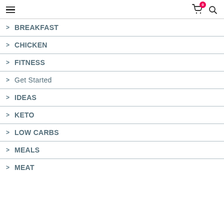Navigation menu with hamburger icon, cart (0), and search
> BREAKFAST
> CHICKEN
> FITNESS
> Get Started
> IDEAS
> KETO
> LOW CARBS
> MEALS
> MEAT